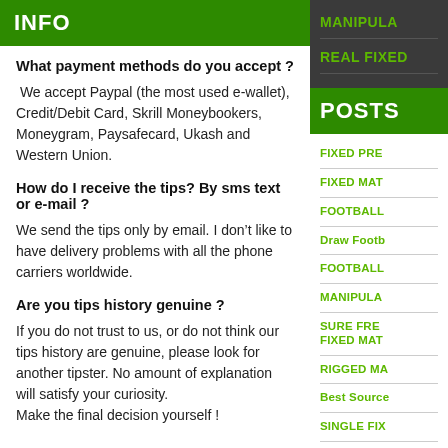INFO
What payment methods do you accept ?
We accept Paypal (the most used e-wallet), Credit/Debit Card, Skrill Moneybookers, Moneygram, Paysafecard, Ukash and Western Union.
How do I receive the tips? By sms text or e-mail ?
We send the tips only by email. I don’t like to have delivery problems with all the phone carriers worldwide.
Are you tips history genuine ?
If you do not trust to us, or do not think our tips history are genuine, please look for another tipster. No amount of explanation will satisfy your curiosity. Make the final decision yourself !
POSTS
MANIPULA
REAL FIXED
FIXED PRE
FIXED MAT
FOOTBALL
Draw Footb
FOOTBALL
MANIPULA
SURE FRE FIXED MAT
RIGGED MA
Best Source
SINGLE FIX